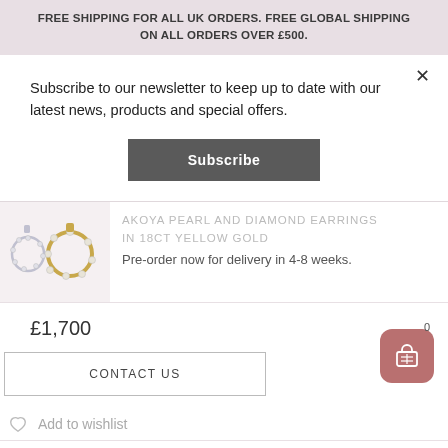FREE SHIPPING FOR ALL UK ORDERS. FREE GLOBAL SHIPPING ON ALL ORDERS OVER £500.
Subscribe to our newsletter to keep up to date with our latest news, products and special offers.
Subscribe
AKOYA PEARL AND DIAMOND EARRINGS IN 18CT YELLOW GOLD
Pre-order now for delivery in 4-8 weeks.
£1,700
CONTACT US
Add to wishlist
Meet your new jewellery box essentials -